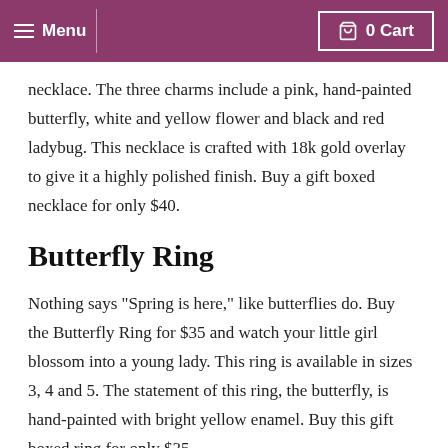Menu  0 Cart
necklace. The three charms include a pink, hand-painted butterfly, white and yellow flower and black and red ladybug. This necklace is crafted with 18k gold overlay to give it a highly polished finish. Buy a gift boxed necklace for only $40.
Butterfly Ring
Nothing says “Spring is here,” like butterflies do. Buy the Butterfly Ring for $35 and watch your little girl blossom into a young lady. This ring is available in sizes 3, 4 and 5. The statement of this ring, the butterfly, is hand-painted with bright yellow enamel. Buy this gift boxed ring for only $35.
Shop with us online today to find the perfect little girls jewelry to put in your daughter’s Easter basket. Contact